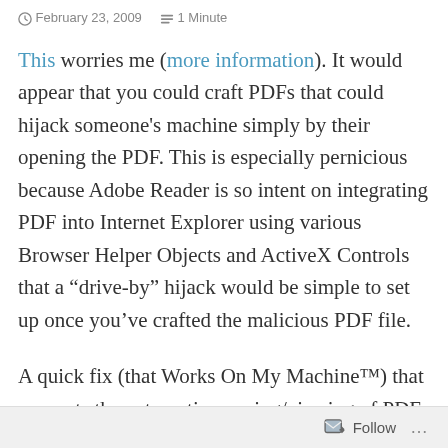February 23, 2009   1 Minute
This worries me (more information). It would appear that you could craft PDFs that could hijack someone's machine simply by their opening the PDF. This is especially pernicious because Adobe Reader is so intent on integrating PDF into Internet Explorer using various Browser Helper Objects and ActiveX Controls that a “drive-by” hijack would be simple to set up once you’ve crafted the malicious PDF file.
A quick fix (that Works On My Machine™) that prevents the automatic opening/viewing of PDF files from the web is to change the
Follow ...